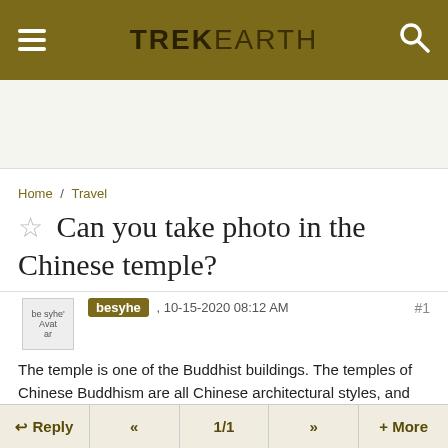TREKEARTH
Home / Travel
☆ Can you take photo in the Chinese temple?
besyhe , 10-15-2020 08:12 AM #1
The temple is one of the Buddhist buildings. The temples of Chinese Buddhism are all Chinese architectural styles, and the temples of Tibetan Buddhism are mainly Chinese architectural styles. Chinese temple architecture is just
Reply  «  1/1  »  + More